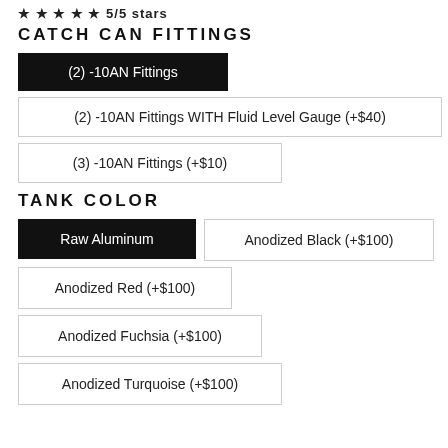★ ★ ★ ★ ★ 5/5 stars
CATCH CAN FITTINGS
(2) -10AN Fittings
(2) -10AN Fittings WITH Fluid Level Gauge (+$40)
(3) -10AN Fittings (+$10)
TANK COLOR
Raw Aluminum
Anodized Black (+$100)
Anodized Red (+$100)
Anodized Fuchsia (+$100)
Anodized Turquoise (+$100)